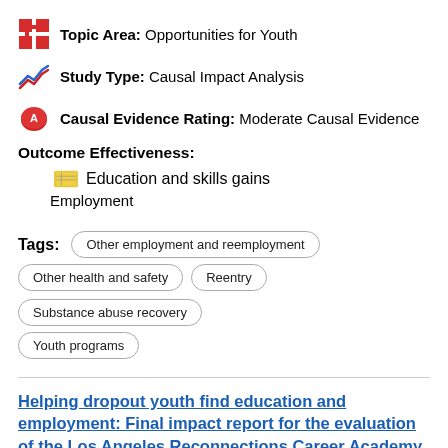Topic Area: Opportunities for Youth
Study Type: Causal Impact Analysis
Causal Evidence Rating: Moderate Causal Evidence
Outcome Effectiveness:
Education and skills gains
Employment
Tags: Other employment and reemployment, Other health and safety, Reentry, Substance abuse recovery, Youth programs
Helping dropout youth find education and employment: Final impact report for the evaluation of the Los Angeles Reconnections Career Academy (LARCA) program